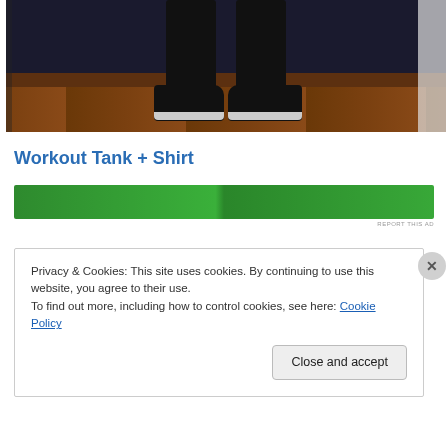[Figure (photo): Photo of a person's lower body wearing black jeans and black sneakers with white soles, standing on a wooden floor near a white door.]
Workout Tank + Shirt
[Figure (other): Green advertisement banner, partially visible with white text. REPORT THIS AD label at bottom right.]
Privacy & Cookies: This site uses cookies. By continuing to use this website, you agree to their use.
To find out more, including how to control cookies, see here: Cookie Policy
Close and accept